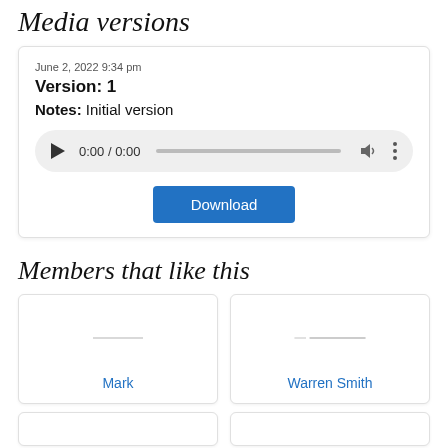Media versions
June 2, 2022 9:34 pm
Version: 1
Notes: Initial version
[Figure (other): Audio player widget showing 0:00 / 0:00 with play button, progress bar, volume icon, and more options icon]
Download
Members that like this
Mark
Warren Smith